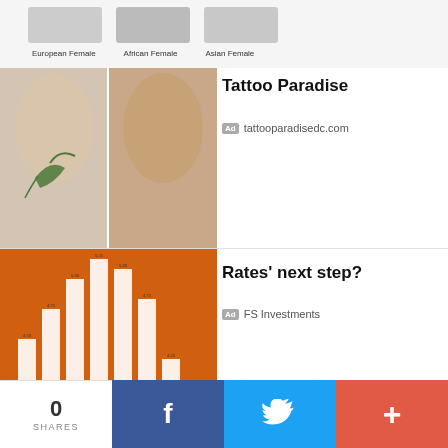[Figure (illustration): Partial view of three skull models labeled European Female, African Female, Asian Female at top of page]
European Female    African Female    Asian Female
[Figure (photo): Tattoo removal before/after: two side-by-side back-of-neck photos, one with a green bird tattoo]
Tattoo Paradise
Ad  tattooparadisedc.com
[Figure (photo): Bar chart with white bars on orange background showing financial rates data]
Rates' next step?
Ad  FS Investments
[Figure (photo): Overhead shot of pizza or tart on wooden board on dark marble surface]
Creamy Delicious Havarti
Ad  Castello Cheese
[Figure (photo): Partial photo of blonde woman's face and eyebrows]
Wolf Marloh Photography
0 SHARES  f  [twitter bird]  +